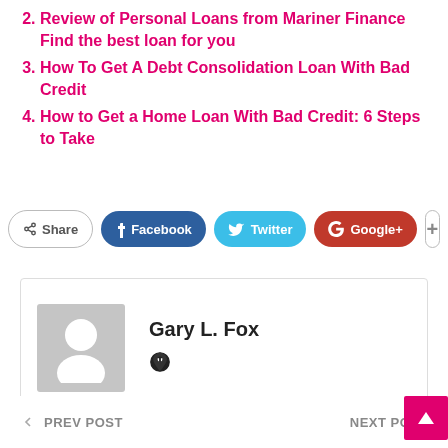2. Review of Personal Loans from Mariner Finance Find the best loan for you
3. How To Get A Debt Consolidation Loan With Bad Credit
4. How to Get a Home Loan With Bad Credit: 6 Steps to Take
[Figure (other): Social share bar with Share, Facebook, Twitter, Google+, and plus buttons]
[Figure (other): Author card showing avatar placeholder and name Gary L. Fox with a social icon]
← PREV POST    NEXT POST →